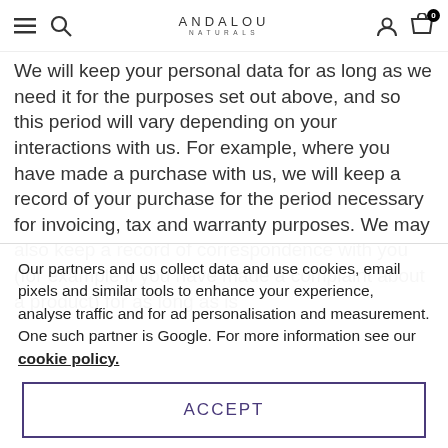ANDALOU NATURALS
We will keep your personal data for as long as we need it for the purposes set out above, and so this period will vary depending on your interactions with us. For example, where you have made a purchase with us, we will keep a record of your purchase for the period necessary for invoicing, tax and warranty purposes. We may also keep a record of correspondence with you (for example if you have made a complaint about a product) for as long as is
Our partners and us collect data and use cookies, email pixels and similar tools to enhance your experience, analyse traffic and for ad personalisation and measurement. One such partner is Google. For more information see our cookie policy.
ACCEPT